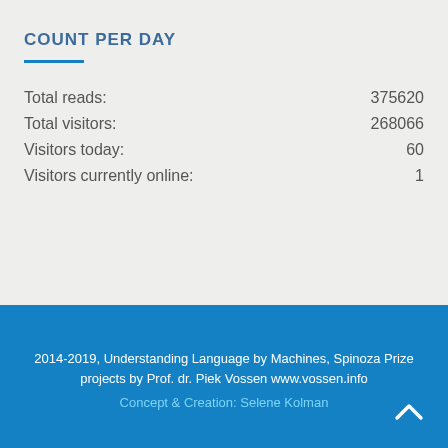COUNT PER DAY
|  |  |
| --- | --- |
| Total reads: | 375620 |
| Total visitors: | 268066 |
| Visitors today: | 60 |
| Visitors currently online: | 1 |
2014-2019, Understanding Language by Machines, Spinoza Prize projects by Prof. dr. Piek Vossen www.vossen.info
Concept & Creation: Selene Kolman